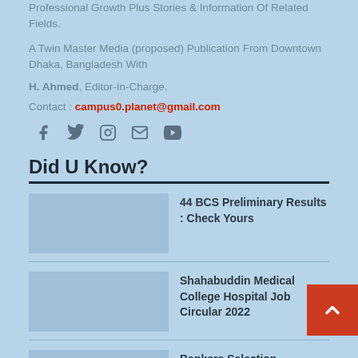Professional Growth Plus Stories & Information Of Related Fields.
A Twin Master Media (proposed) Publication From Downtown Dhaka, Bangladesh With
H. Ahmed, Editor-In-Charge.
Contact : campus0.planet@gmail.com
[Figure (infographic): Social media icons: Facebook, Twitter, Instagram, Mail, YouTube]
Did U Know?
44 BCS Preliminary Results : Check Yours
Shahabuddin Medical College Hospital Job Circular 2022
Bankers Selection Committee Job Circular 2021 : 868